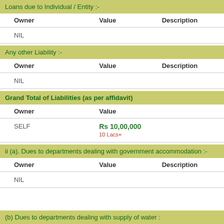Loans due to Individual / Entity :-
| Owner | Value | Description |
| --- | --- | --- |
| NIL |  |  |
Any other Liability :-
| Owner | Value | Description |
| --- | --- | --- |
| NIL |  |  |
Grand Total of Liabilities (as per affidavit)
| Owner | Value |
| --- | --- |
| SELF | Rs 10,00,000
10 Lacs+ |
ii (a). Dues to departments dealing with government accommodation :-
| Owner | Value | Description |
| --- | --- | --- |
| NIL |  |  |
(b) Dues to departments dealing with supply of water :